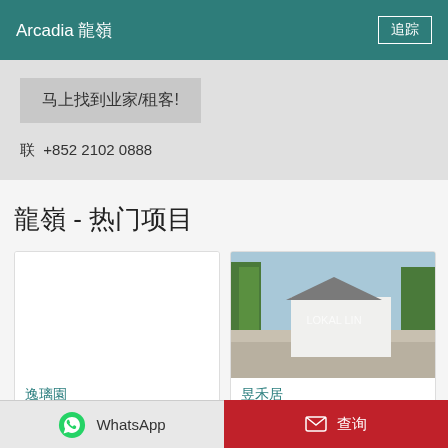Arcadia 龍嶺
马上找到业家/租客!
联 +852 2102 0888
龍嶺 - 热门项目
[Figure (photo): White card placeholder (no image)]
逸璃園
[Figure (photo): Photo of a residential property entrance with palm trees and blue sky, labeled LOKAL LIN]
昱禾居
WhatsApp   查询